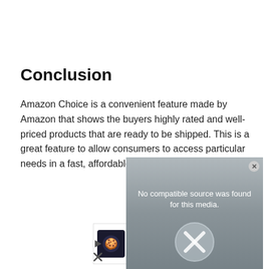Conclusion
Amazon Choice is a convenient feature made by Amazon that shows the buyers highly rated and well-priced products that are ready to be shipped. This is a great feature to allow consumers to access particular needs in a fast, affordable, and easy way.
[Figure (screenshot): A media player error overlay showing 'No compatible source was found for this media.' with an X icon in a circle, displayed over a gray gradient background with a close button in the top right corner.]
[Figure (screenshot): An advertisement banner for Crumbl Cookies showing a logo, the text 'Crumbl Cookies™' and 'Crumbl Cookies – Ashburn', with a blue navigation arrow icon on the right.]